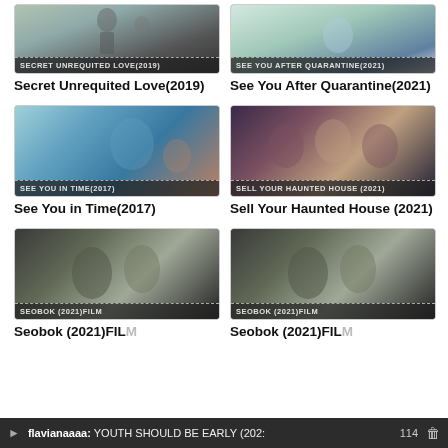[Figure (screenshot): Thumbnail for Secret Unrequited Love(2019) with overlay label]
Secret Unrequited Love(2019)
[Figure (screenshot): Thumbnail for See You After Quarantine(2021) with overlay label]
See You After Quarantine(2021)
[Figure (screenshot): Thumbnail for See You in Time(2017) with overlay label]
See You in Time(2017)
[Figure (screenshot): Thumbnail for Sell Your Haunted House (2021) with overlay label]
Sell Your Haunted House (2021)
[Figure (screenshot): Thumbnail for Seobok (2021)FILM left with overlay label]
Seobok (2021)FILM
[Figure (screenshot): Thumbnail for Seobok (2021)FILM right with overlay label]
Seobok (2021)FILM
flavianaaaa: YOUTH SHOULD BE EARLY (202:  114